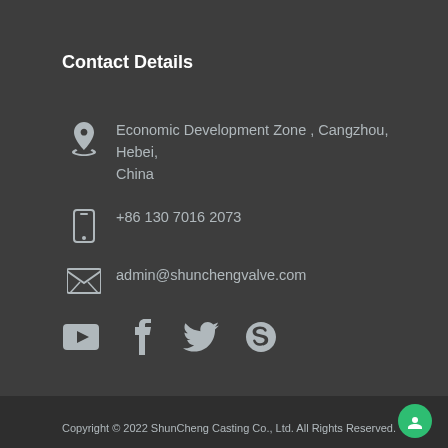Contact Details
Economic Development Zone , Cangzhou, Hebei, China
+86 130 7016 2073
admin@shunchengvalve.com
[Figure (other): Social media icons: YouTube, Facebook, Twitter, Skype]
Copyright © 2022 ShunCheng Casting Co., Ltd. All Rights Reserved.